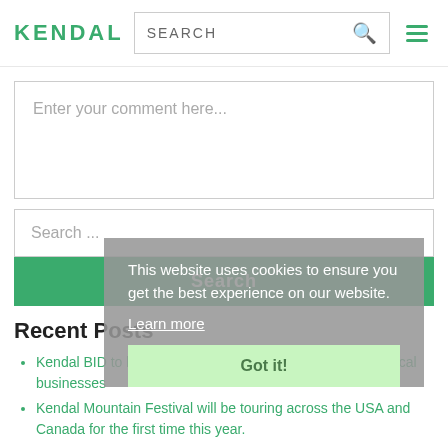KENDAL
Enter your comment here...
Search ...
Search
Recent Posts
Kendal BID to launch new online training programme for local businesses
Kendal Mountain Festival will be touring across the USA and Canada for the first time this year.
Kendal's Grade I listed Abbot Hall to reopen in 2023
This website uses cookies to ensure you get the best experience on our website.
Learn more
Got it!